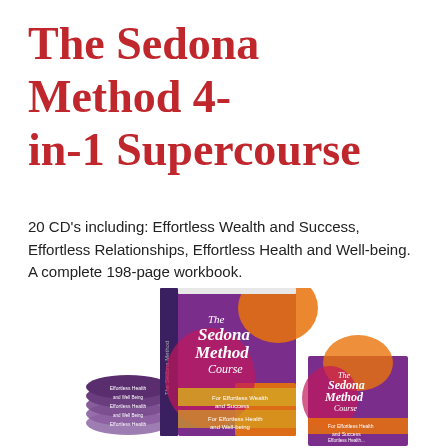The Sedona Method 4-in-1 Supercourse
20 CD's including: Effortless Wealth and Success, Effortless Relationships, Effortless Health and Well-being. A complete 198-page workbook.
[Figure (photo): Product photo showing The Sedona Method Course materials: a large book/workbook with purple and orange cover design, a smaller case or box also branded The Sedona Method Course, and a stack of CDs labeled Effortless Health and Well Being]